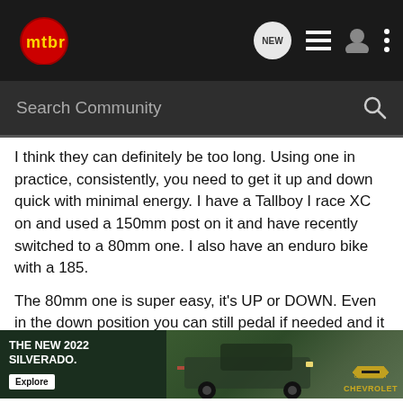mtbr navigation bar with logo, NEW, list, user, and more icons
Search Community
I think they can definitely be too long. Using one in practice, consistently, you need to get it up and down quick with minimal energy. I have a Tallboy I race XC on and used a 150mm post on it and have recently switched to a 80mm one. I also have an enduro bike with a 185.
The 80mm one is super easy, it's UP or DOWN. Even in the down position you can still pedal if needed and it always is at the same spot and you don't need to do a super deep squat to get it down (which gets old after a while) and it's back to full height very quick.
While there are certainly some situations where I'd like more than 80... the gnarlies
[Figure (advertisement): Chevrolet 2022 Silverado truck advertisement showing truck on terrain with Explore button and Chevrolet logo]